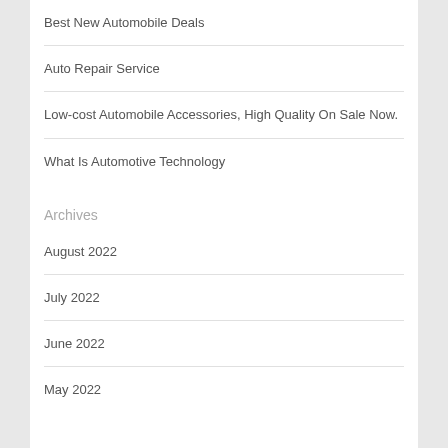Best New Automobile Deals
Auto Repair Service
Low-cost Automobile Accessories, High Quality On Sale Now.
What Is Automotive Technology
Archives
August 2022
July 2022
June 2022
May 2022